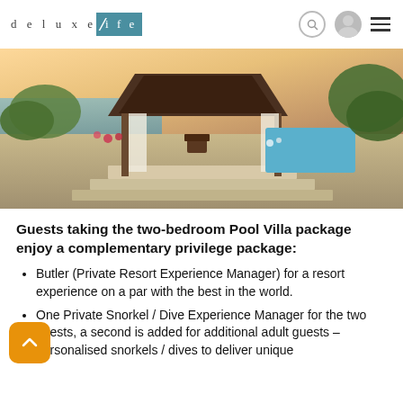deluxe/ife (deluxe Life logo)
[Figure (photo): Luxury resort pool villa with thatched-roof gazebo/pavilion, swimming pool, tropical garden and ocean view at sunset]
Guests taking the two-bedroom Pool Villa package enjoy a complementary privilege package:
Butler (Private Resort Experience Manager) for a resort experience on a par with the best in the world.
One Private Snorkel / Dive Experience Manager for the two guests, a second is added for additional adult guests – personalised snorkels / dives to deliver unique